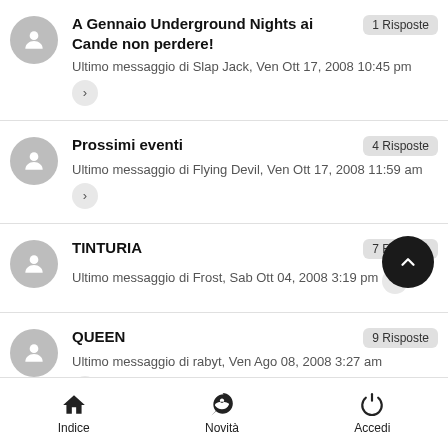A Gennaio Underground Nights ai Cande non perdere! — 1 Risposte — Ultimo messaggio di Slap Jack, Ven Ott 17, 2008 10:45 pm
Prossimi eventi — 4 Risposte — Ultimo messaggio di Flying Devil, Ven Ott 17, 2008 11:59 am
TINTURIA — 7 Risposte — Ultimo messaggio di Frost, Sab Ott 04, 2008 3:19 pm
QUEEN — 9 Risposte — Ultimo messaggio di rabyt, Ven Ago 08, 2008 3:27 am
Indice | Novità | Accedi